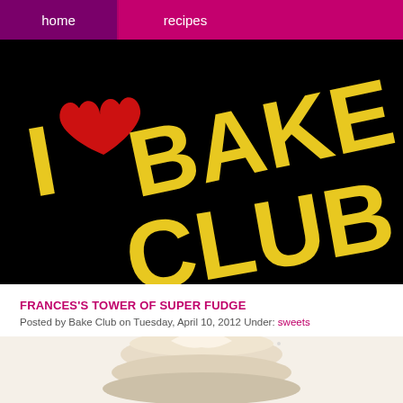home   recipes
[Figure (photo): Black background with yellow chunky text reading 'I BAKE CLUB' with a red heart replacing the word 'love', styled like a t-shirt graphic design.]
FRANCES'S TOWER OF SUPER FUDGE
Posted by Bake Club on Tuesday, April 10, 2012 Under: sweets
[Figure (photo): Partial view of a fudge dessert/tower, light beige/cream colored with swirled topping, on a white background.]